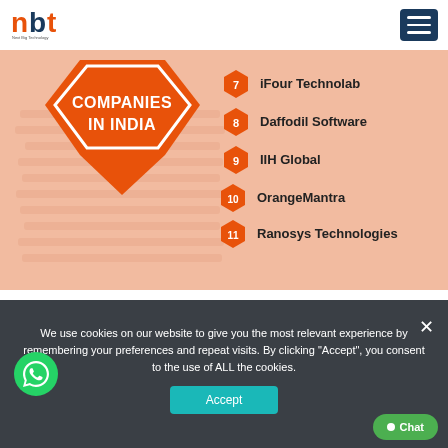[Figure (logo): NBT Next Big Technology logo — orange stylized letters with tagline]
[Figure (infographic): Companies in India numbered list infographic with orange chevron badge and hexagon bullets showing: 7 iFour Technolab, 8 Daffodil Software, 9 IIH Global, 10 OrangeMantra, 11 Ranosys Technologies]
We use cookies on our website to give you the most relevant experience by remembering your preferences and repeat visits. By clicking "Accept", you consent to the use of ALL the cookies.
Accept | Chat